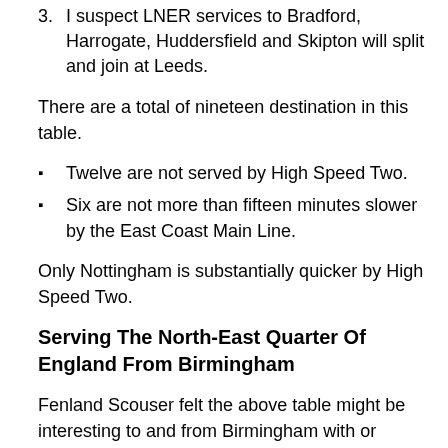3. I suspect LNER services to Bradford, Harrogate, Huddersfield and Skipton will split and join at Leeds.
There are a total of nineteen destination in this table.
Twelve are not served by High Speed Two.
Six are not more than fifteen minutes slower by the East Coast Main Line.
Only Nottingham is substantially quicker by High Speed Two.
Serving The North-East Quarter Of England From Birmingham
Fenland Scouser felt the above table might be interesting to and from Birmingham with or without the Eastern Leg of High Speed Two.